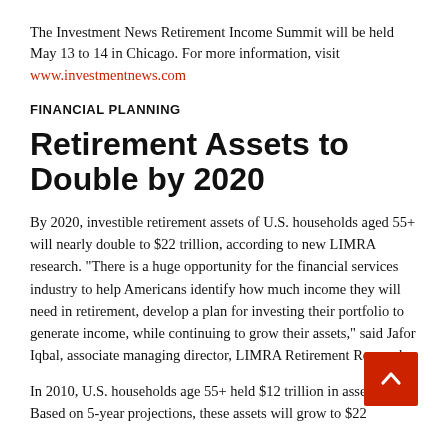The Investment News Retirement Income Summit will be held May 13 to 14 in Chicago. For more information, visit www.investmentnews.com
FINANCIAL PLANNING
Retirement Assets to Double by 2020
By 2020, investible retirement assets of U.S. households aged 55+ will nearly double to $22 trillion, according to new LIMRA research. “There is a huge opportunity for the financial services industry to help Americans identify how much income they will need in retirement, develop a plan for investing their portfolio to generate income, while continuing to grow their assets,” said Jafor Iqbal, associate managing director, LIMRA Retirement Research.
In 2010, U.S. households age 55+ held $12 trillion in assets. Based on 5-year projections, these assets will grow to $22...